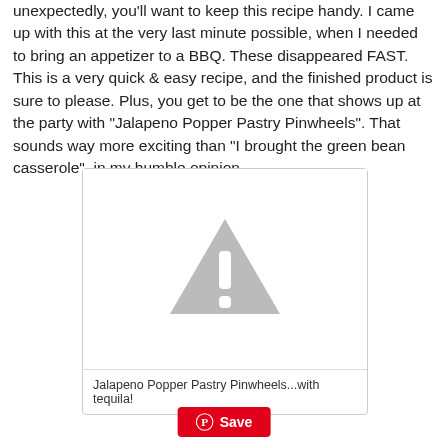unexpectedly, you'll want to keep this recipe handy. I came up with this at the very last minute possible, when I needed to bring an appetizer to a BBQ. These disappeared FAST. This is a very quick & easy recipe, and the finished product is sure to please. Plus, you get to be the one that shows up at the party with "Jalapeno Popper Pastry Pinwheels". That sounds way more exciting than "I brought the green bean casserole", in my humble opinion.
[Figure (photo): Image placeholder with warning triangle icon indicating a missing or broken image]
Jalapeno Popper Pastry Pinwheels...with tequila!